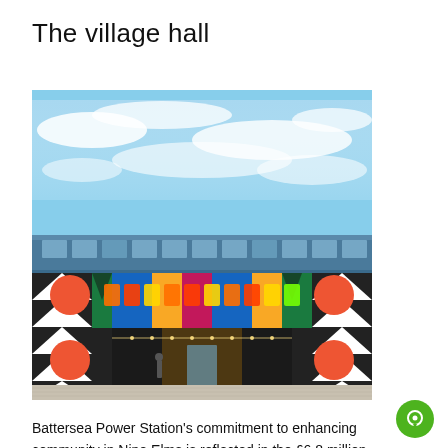The village hall
[Figure (photo): Exterior of a building with colorful geometric murals and graffiti art on the facade, with a bridge or elevated walkway above and a blue sky with clouds in the background.]
Battersea Power Station's commitment to enhancing community in Nine Elms is reflected in the £6.8 million